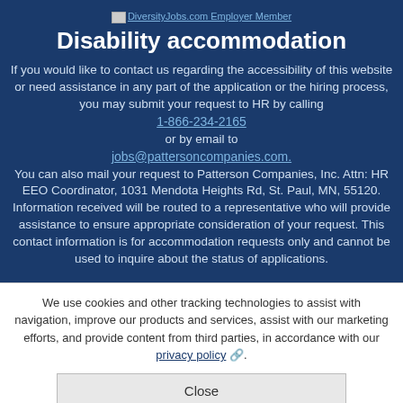[Figure (logo): DiversityJobs.com Employer Member logo/badge with small image icon]
Disability accommodation
If you would like to contact us regarding the accessibility of this website or need assistance in any part of the application or the hiring process, you may submit your request to HR by calling 1-866-234-2165 or by email to jobs@pattersoncompanies.com. You can also mail your request to Patterson Companies, Inc. Attn: HR EEO Coordinator, 1031 Mendota Heights Rd, St. Paul, MN, 55120. Information received will be routed to a representative who will provide assistance to ensure appropriate consideration of your request. This contact information is for accommodation requests only and cannot be used to inquire about the status of applications.
We use cookies and other tracking technologies to assist with navigation, improve our products and services, assist with our marketing efforts, and provide content from third parties, in accordance with our privacy policy.
Close